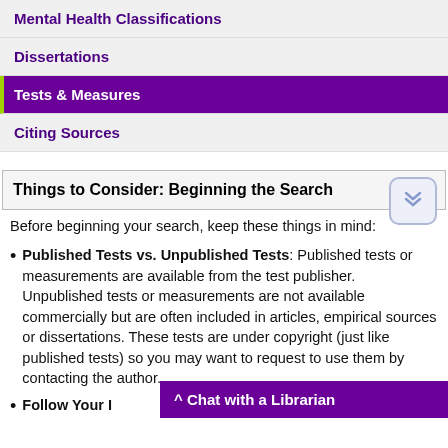Mental Health Classifications
Dissertations
Tests & Measures
Citing Sources
Things to Consider: Beginning the Search
Before beginning your search, keep these things in mind:
Published Tests vs. Unpublished Tests: Published tests or measurements are available from the test publisher. Unpublished tests or measurements are not available commercially but are often included in articles, empirical sources or dissertations. These tests are under copyright (just like published tests) so you may want to request to use them by contacting the author.
Follow Your I...